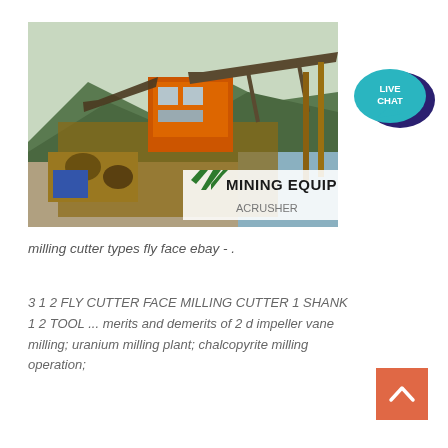[Figure (photo): Photograph of large industrial mining equipment / crusher machine outdoors, with conveyor belts, orange metal structure, and mountains in the background. A watermark reads 'MINING EQUIPMENT ACRUSHER' with green diagonal stripes logo.]
[Figure (infographic): Live Chat bubble icon: teal/dark blue speech bubble with text 'LIVE CHAT' inside.]
milling cutter types fly face ebay - .
3 1 2 FLY CUTTER FACE MILLING CUTTER 1 SHANK 1 2 TOOL ... merits and demerits of 2 d impeller vane milling; uranium milling plant; chalcopyrite milling operation;
[Figure (infographic): Back to top button: orange/coral square with upward chevron arrow.]